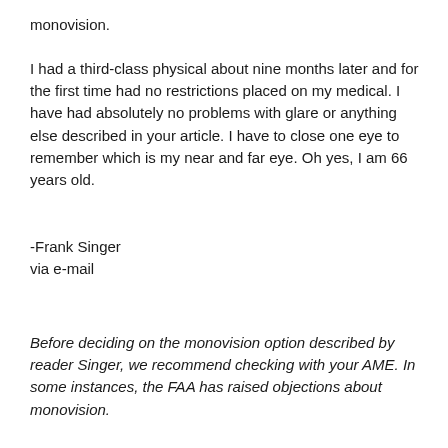monovision.
I had a third-class physical about nine months later and for the first time had no restrictions placed on my medical. I have had absolutely no problems with glare or anything else described in your article. I have to close one eye to remember which is my near and far eye. Oh yes, I am 66 years old.
-Frank Singer
via e-mail
Before deciding on the monovision option described by reader Singer, we recommend checking with your AME. In some instances, the FAA has raised objections about monovision.